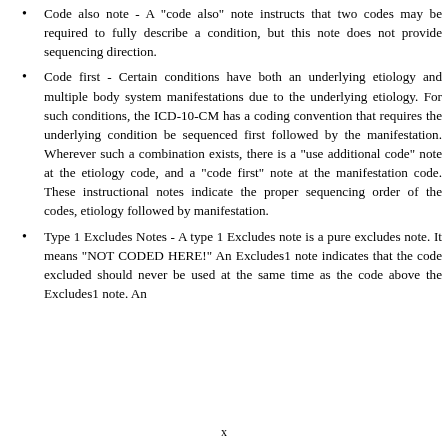Code also note - A "code also" note instructs that two codes may be required to fully describe a condition, but this note does not provide sequencing direction.
Code first - Certain conditions have both an underlying etiology and multiple body system manifestations due to the underlying etiology. For such conditions, the ICD-10-CM has a coding convention that requires the underlying condition be sequenced first followed by the manifestation. Wherever such a combination exists, there is a "use additional code" note at the etiology code, and a "code first" note at the manifestation code. These instructional notes indicate the proper sequencing order of the codes, etiology followed by manifestation.
Type 1 Excludes Notes - A type 1 Excludes note is a pure excludes note. It means "NOT CODED HERE!" An Excludes1 note indicates that the code excluded should never be used at the same time as the code above the Excludes1 note. An
x